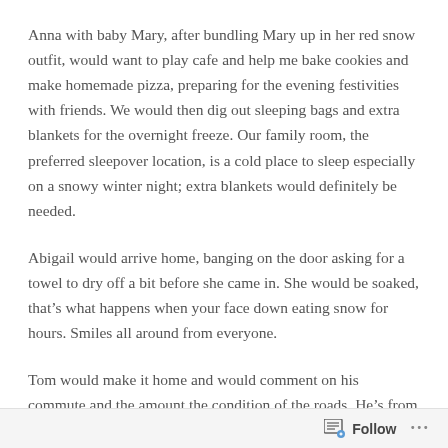Anna with baby Mary, after bundling Mary up in her red snow outfit, would want to play cafe and help me bake cookies and make homemade pizza, preparing for the evening festivities with friends. We would then dig out sleeping bags and extra blankets for the overnight freeze. Our family room, the preferred sleepover location, is a cold place to sleep especially on a snowy winter night; extra blankets would definitely be needed.
Abigail would arrive home, banging on the door asking for a towel to dry off a bit before she came in. She would be soaked, that’s what happens when your face down eating snow for hours. Smiles all around from everyone.
Tom would make it home and would comment on his commute and the amount the condition of the roads. He’s from Northern England
Follow